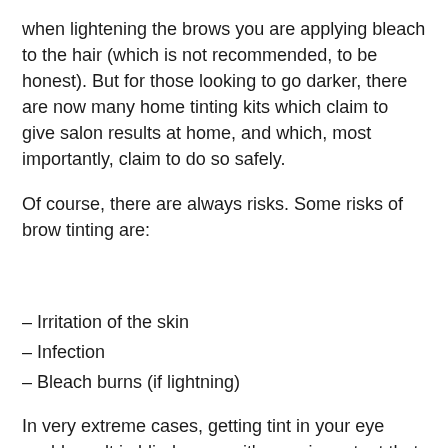when lightening the brows you are applying bleach to the hair (which is not recommended, to be honest). But for those looking to go darker, there are now many home tinting kits which claim to give salon results at home, and which, most importantly, claim to do so safely.
Of course, there are always risks. Some risks of brow tinting are:
– Irritation of the skin
– Infection
– Bleach burns (if lightning)
In very extreme cases, getting tint in your eye could result in blindness so it's very important that you employ good, safety centred practices. This means completing a patch test, using